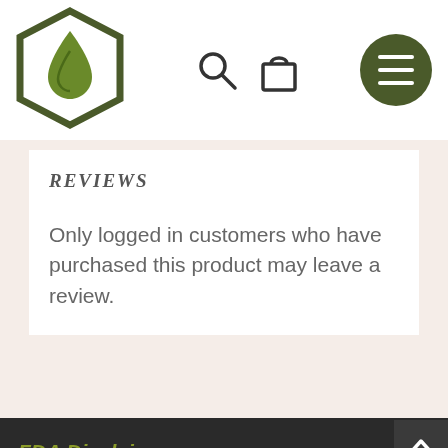[Figure (logo): Hexagonal logo with a green leaf/drop icon]
[Figure (illustration): Search icon and shopping bag icon in nav bar]
[Figure (illustration): Dark olive circular menu button with three white horizontal lines]
REVIEWS
Only logged in customers who have purchased this product may leave a review.
FDA Disclaimer
This product is not for use by or sale to persons under the age of 18. This product should be used only as directed on the label. It should not be used if you are pregnant or nursing. Consult with a